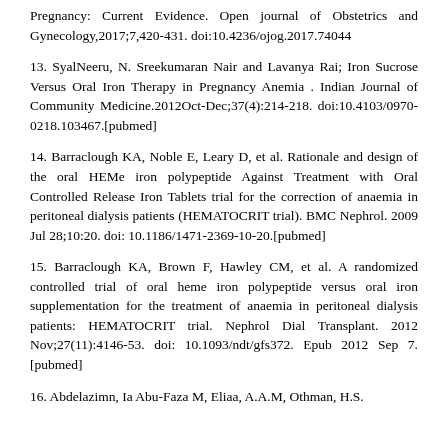Pregnancy: Current Evidence. Open journal of Obstetrics and Gynecology,2017;7,420-431. doi:10.4236/ojog.2017.74044
13. SyalNeeru, N. Sreekumaran Nair and Lavanya Rai; Iron Sucrose Versus Oral Iron Therapy in Pregnancy Anemia . Indian Journal of Community Medicine.2012Oct-Dec;37(4):214-218. doi:10.4103/0970-0218.103467.[pubmed]
14. Barraclough KA, Noble E, Leary D, et al. Rationale and design of the oral HEMe iron polypeptide Against Treatment with Oral Controlled Release Iron Tablets trial for the correction of anaemia in peritoneal dialysis patients (HEMATOCRIT trial). BMC Nephrol. 2009 Jul 28;10:20. doi: 10.1186/1471-2369-10-20.[pubmed]
15. Barraclough KA, Brown F, Hawley CM, et al. A randomized controlled trial of oral heme iron polypeptide versus oral iron supplementation for the treatment of anaemia in peritoneal dialysis patients: HEMATOCRIT trial. Nephrol Dial Transplant. 2012 Nov;27(11):4146-53. doi: 10.1093/ndt/gfs372. Epub 2012 Sep 7.[pubmed]
16. Abdelazimn, Ia Abu-Faza M, Eliaa, A.A.M, Othman, H.S.